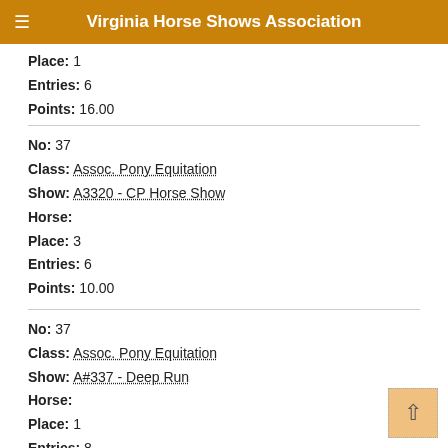Virginia Horse Shows Association
Place: 1
Entries: 6
Points: 16.00
No: 37
Class: Assoc. Pony Equitation
Show: A3320 - CP Horse Show
Horse:
Place: 3
Entries: 6
Points: 10.00
No: 37
Class: Assoc. Pony Equitation
Show: A#337 - Deep Run
Horse:
Place: 1
Entries: 8
Points: 18.00